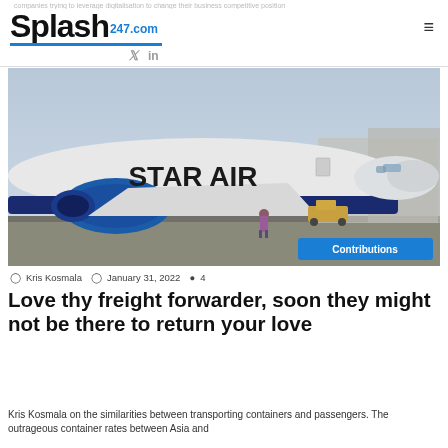companies trying to leverage digitalisation to change their business competitive position
[Figure (logo): Splash247.com logo with bold black Splash text and blue 247.com, blue underline, social icons for Twitter and LinkedIn]
[Figure (photo): A Star Air branded Boeing wide-body aircraft parked on airport tarmac, a person standing in front of it, ground support vehicles in background. Blue engine and fuselage livery. Contributions badge in lower right.]
Kris Kosmala   January 31, 2022   4
Love thy freight forwarder, soon they might not be there to return your love
Kris Kosmala on the similarities between transporting containers and passengers. The outrageous container rates between Asia and